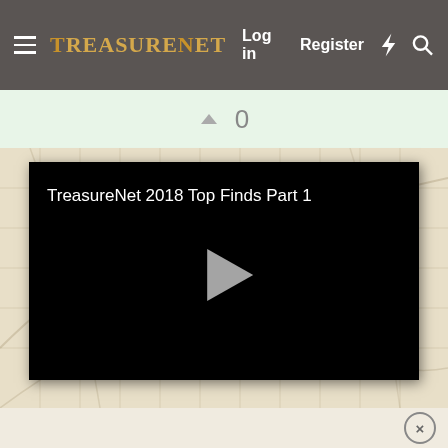TreasureNet — Log in  Register
0
[Figure (screenshot): Video player with black background showing title 'TreasureNet 2018 Top Finds Part 1' and a play button triangle in the center]
×